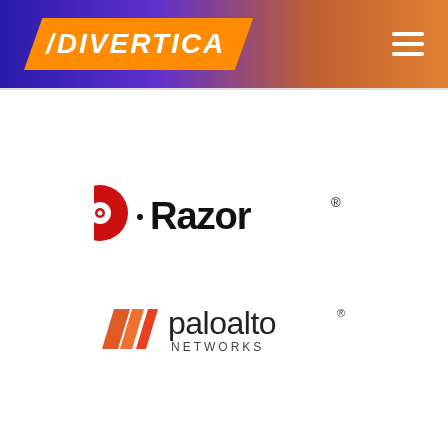DIVERTICA
[Figure (logo): Razor scooters logo: red circular saw blade icon followed by 'Razor' in bold black text with a small registered trademark symbol]
[Figure (logo): Palo Alto Networks logo: three orange/red diagonal parallelogram stripes followed by 'paloalto' in large text and 'NETWORKS' in small caps below]